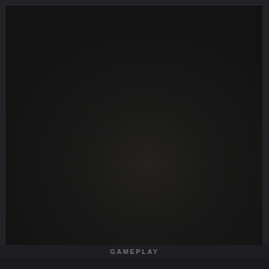[Figure (screenshot): Dark textured video thumbnail area with dark gray background, appears to be a YouTube playlist or video player interface showing a dark landscape or game footage area]
GAMEPLAY
[Figure (screenshot): YouTube playlist row on black background showing a red circular channel icon with a white floral/controller logo, video title 'Crimson Desert - Official Reveal T...' in white text, and a three-dot more options icon on the right]